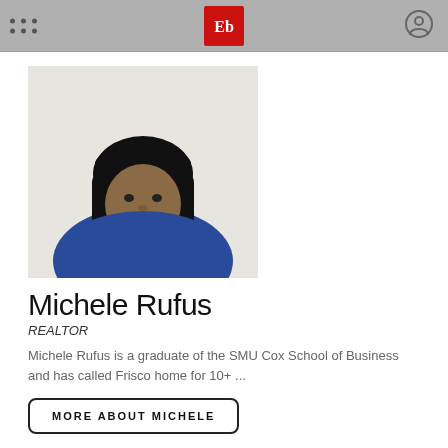Ebby Halliday browser toolbar
[Figure (photo): Headshot of Michele Rufus, a woman wearing a blue top with a black bob hairstyle, smiling, photographed against a white background]
Michele Rufus
REALTOR
Michele Rufus is a graduate of the SMU Cox School of Business and has called Frisco home for 10+ ...
MORE ABOUT MICHELE
(972) 893-3130   (214) 455-1154   Email